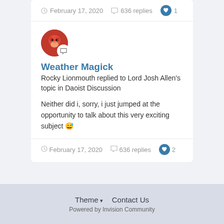February 17, 2020  636 replies  1
Weather Magick
Rocky Lionmouth replied to Lord Josh Allen's topic in Daoist Discussion
Neither did i, sorry, i just jumped at the opportunity to talk about this very exciting subject 😅
February 17, 2020  636 replies  2
Theme ▾  Contact Us
Powered by Invision Community